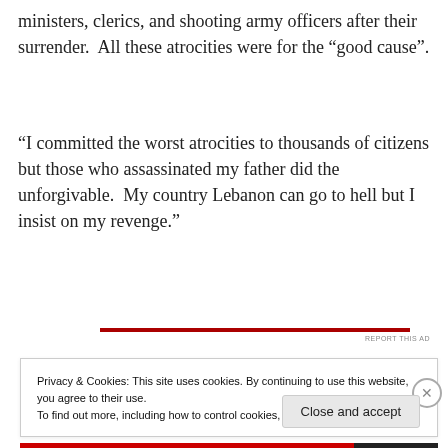ministers, clerics, and shooting army officers after their surrender.  All these atrocities were for the “good cause”.
“I committed the worst atrocities to thousands of citizens but those who assassinated my father did the unforgivable.  My country Lebanon can go to hell but I insist on my revenge.”
Privacy & Cookies: This site uses cookies. By continuing to use this website, you agree to their use.
To find out more, including how to control cookies, see here: Cookie Policy
Close and accept